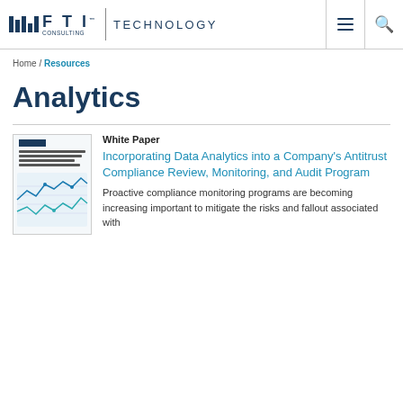FTI CONSULTING | TECHNOLOGY
Home / Resources
Analytics
[Figure (screenshot): Thumbnail of white paper cover: Incorporating Data Analytics into a Company's Antitrust Compliance Review, Monitoring, and Audit Program, with a line chart graphic]
White Paper
Incorporating Data Analytics into a Company's Antitrust Compliance Review, Monitoring, and Audit Program
Proactive compliance monitoring programs are becoming increasing important to mitigate the risks and fallout associated with